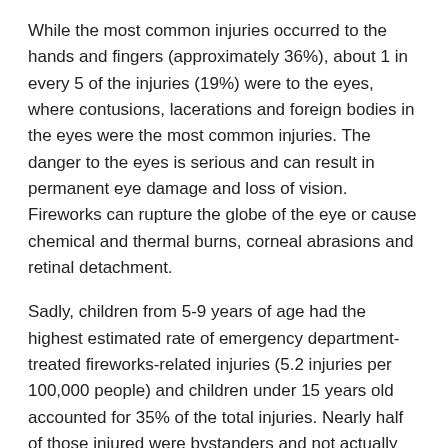While the most common injuries occurred to the hands and fingers (approximately 36%), about 1 in every 5 of the injuries (19%) were to the eyes, where contusions, lacerations and foreign bodies in the eyes were the most common injuries. The danger to the eyes is serious and can result in permanent eye damage and loss of vision. Fireworks can rupture the globe of the eye or cause chemical and thermal burns, corneal abrasions and retinal detachment.
Sadly, children from 5-9 years of age had the highest estimated rate of emergency department-treated fireworks-related injuries (5.2 injuries per 100,000 people) and children under 15 years old accounted for 35% of the total injuries. Nearly half of those injured were bystanders and not actually handling the fireworks themselves.
Here are Five Fireworks Safety Tips to enjoy fireworks safely:
The safest way to view fireworks is at a professional public display rather than at home use.
When viewing fireworks, carefully adhere to the safety